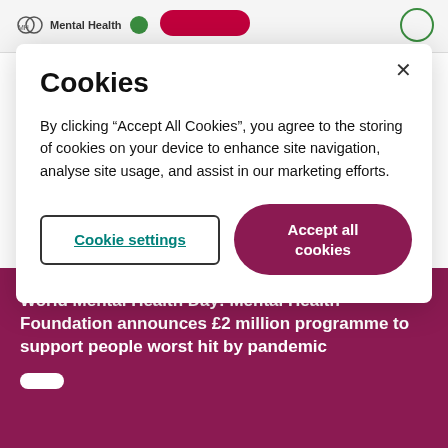Mental Health
Cookies
By clicking “Accept All Cookies”, you agree to the storing of cookies on your device to enhance site navigation, analyse site usage, and assist in our marketing efforts.
Cookie settings
Accept all cookies
World Mental Health Day: Mental Health Foundation announces £2 million programme to support people worst hit by pandemic